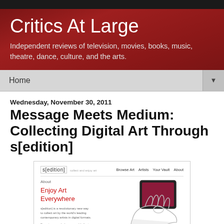Critics At Large
Independent reviews of television, movies, books, music, theatre, dance, culture, and the arts.
Home
Wednesday, November 30, 2011
Message Meets Medium: Collecting Digital Art Through s[edition]
[Figure (screenshot): Screenshot of the s[edition] website showing 'Enjoy Art Everywhere' tagline with a hand holding a tablet device illustration]